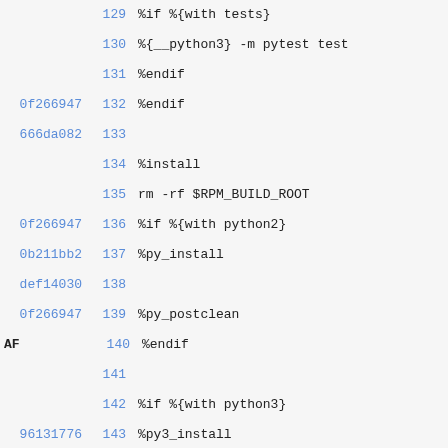129   %if %{with tests}
130   %{__python3} -m pytest test
131   %endif
0f266947 132   %endif
666da082 133
134   %install
135   rm -rf $RPM_BUILD_ROOT
0f266947 136   %if %{with python2}
0b211bb2 137   %py_install
def14030 138
0f266947 139   %py_postclean
AF
140   %endif
141
142   %if %{with python3}
96131776 143   %py3_install
0f266947 144   %endif